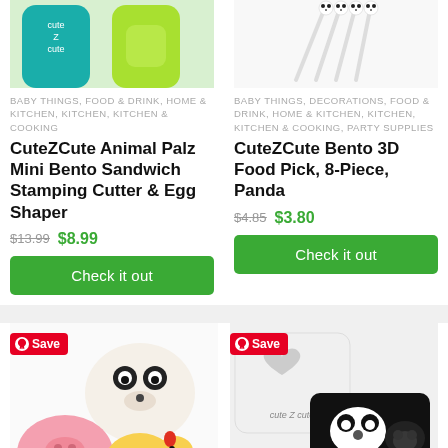[Figure (photo): CuteZCute Animal Palz product image showing teal and green bento box shapes]
BABY THINGS, FOOD & DRINK, HOME & KITCHEN, KITCHEN, KITCHEN & COOKING
CuteZCute Animal Palz Mini Bento Sandwich Stamping Cutter & Egg Shaper
$13.99  $8.99
Check it out
[Figure (photo): CuteZCute Bento 3D Food Pick Panda product image showing white food picks]
BABY THINGS, DECORATIONS, FOOD & DRINK, HOME & KITCHEN, KITCHEN, KITCHEN & COOKING, PARTY SUPPLIES
CuteZCute Bento 3D Food Pick, 8-Piece, Panda
$4.85  $3.80
Check it out
[Figure (photo): Panda, pig, and chick animal bento box product image with Save badge]
[Figure (photo): CuteZCute white and black product with CuteZCute logo, Save badge]